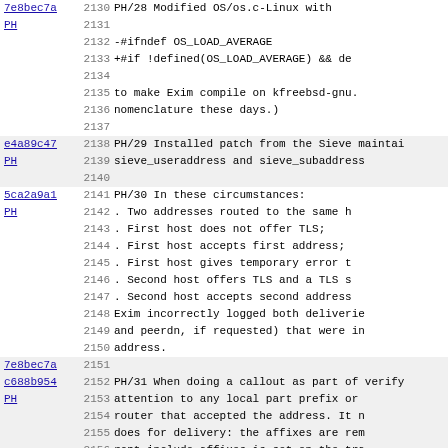Code change log lines 2130-2162 showing git hashes, line numbers, and changelog entries for Exim mail server patches PH/28 through PH/33